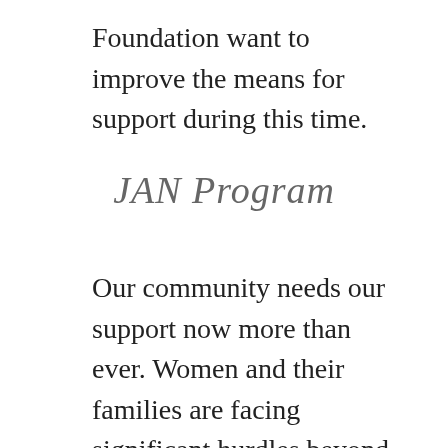Foundation want to improve the means for support during this time.
JAN Program
Our community needs our support now more than ever. Women and their families are facing significant hurdles beyond their ovarian cancer diagnosis and treatment – they are confronting additional concerns that are weighing heavily on their minds during this health crisis.